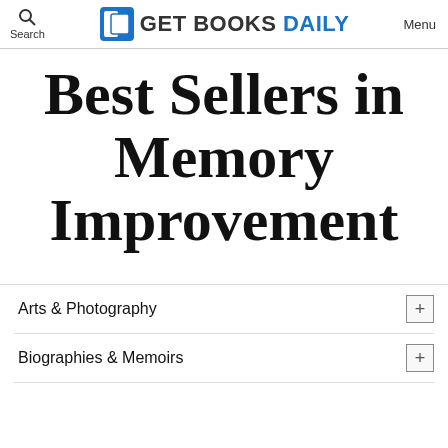Search | GET BOOKS DAILY | Menu
Best Sellers in Memory Improvement
Arts & Photography +
Biographies & Memoirs +